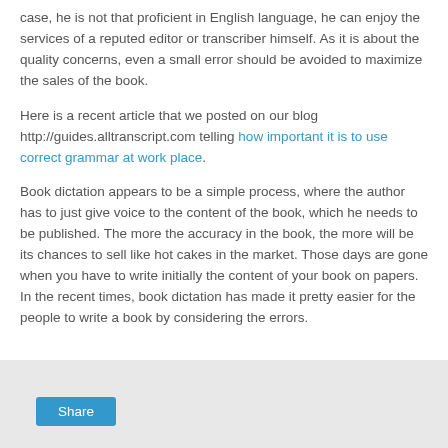case, he is not that proficient in English language, he can enjoy the services of a reputed editor or transcriber himself. As it is about the quality concerns, even a small error should be avoided to maximize the sales of the book.
Here is a recent article that we posted on our blog http://guides.alltranscript.com telling how important it is to use correct grammar at work place.
Book dictation appears to be a simple process, where the author has to just give voice to the content of the book, which he needs to be published. The more the accuracy in the book, the more will be its chances to sell like hot cakes in the market. Those days are gone when you have to write initially the content of your book on papers. In the recent times, book dictation has made it pretty easier for the people to write a book by considering the errors.